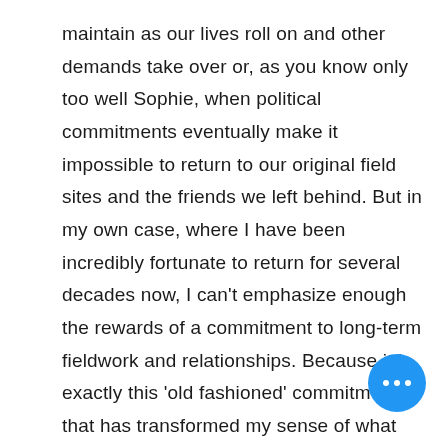maintain as our lives roll on and other demands take over or, as you know only too well Sophie, when political commitments eventually make it impossible to return to our original field sites and the friends we left behind. But in my own case, where I have been incredibly fortunate to return for several decades now, I can't emphasize enough the rewards of a commitment to long-term fieldwork and relationships. Because it is exactly this 'old fashioned' commitment that has transformed my sense of what anthropology can and should be, even as I venture into collaborations far beyond Arnhem Land
[Figure (other): Blue circular FAB button with three white dots (ellipsis menu)]